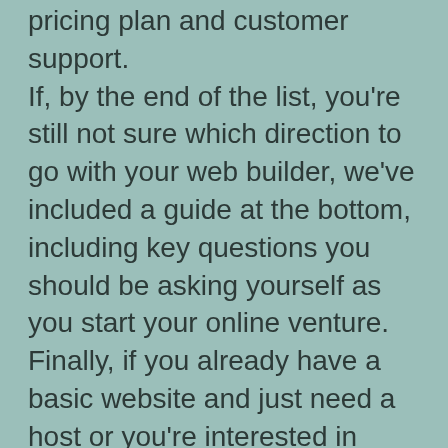pricing plan and customer support. If, by the end of the list, you're still not sure which direction to go with your web builder, we've included a guide at the bottom, including key questions you should be asking yourself as you start your online venture. Finally, if you already have a basic website and just need a host or you're interested in building a self-hosted WordPress site, check out our list of best web hosting services and our list of the best WordPress hosting services. Jump to: How to choose the best website builder Wix is the clear front-runner in the race for